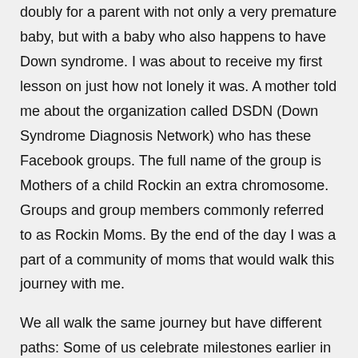doubly for a parent with not only a very premature baby, but with a baby who also happens to have Down syndrome. I was about to receive my first lesson on just how not lonely it was. A mother told me about the organization called DSDN (Down Syndrome Diagnosis Network) who has these Facebook groups. The full name of the group is Mothers of a child Rockin an extra chromosome. Groups and group members commonly referred to as Rockin Moms. By the end of the day I was a part of a community of moms that would walk this journey with me.
We all walk the same journey but have different paths: Some of us celebrate milestones earlier in the developmental timeline, more closely resembling the timeline of a typically developing child. Some of us wait a longer time for their child's milestone celebrations. Some of us know what it's like to hand our baby for heart surgery where they will become a member of the zipper